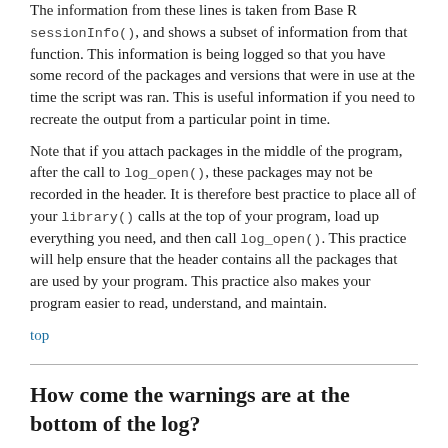The information from these lines is taken from Base R sessionInfo(), and shows a subset of information from that function. This information is being logged so that you have some record of the packages and versions that were in use at the time the script was ran. This is useful information if you need to recreate the output from a particular point in time.
Note that if you attach packages in the middle of the program, after the call to log_open(), these packages may not be recorded in the header. It is therefore best practice to place all of your library() calls at the top of your program, load up everything you need, and then call log_open(). This practice will help ensure that the header contains all the packages that are used by your program. This practice also makes your program easier to read, understand, and maintain.
top
How come the warnings are at the bottom of the log?
Q: I noticed that errors are logged at the point they are generated. But warnings are logged at the end of the log.